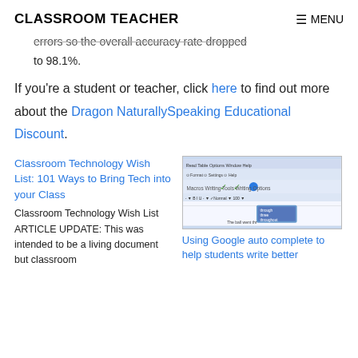CLASSROOM TEACHER   ≡ MENU
…errors so the overall accuracy rate dropped to 98.1%.
If you're a student or teacher, click here to find out more about the Dragon NaturallySpeaking Educational Discount.
Classroom Technology Wish List: 101 Ways to Bring Tech into your Class
Classroom Technology Wish List ARTICLE UPDATE: This was intended to be a living document but classroom
[Figure (screenshot): Screenshot of Dragon NaturallySpeaking software interface showing toolbar and a dropdown menu with text options. Caption reads 'The ball went thr']
Using Google auto complete to help students write better